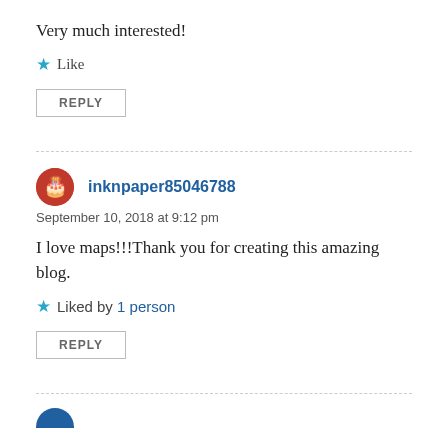Very much interested!
★ Like
REPLY
inknpaper85046788
September 10, 2018 at 9:12 pm
I love maps!!!Thank you for creating this amazing blog.
★ Liked by 1 person
REPLY